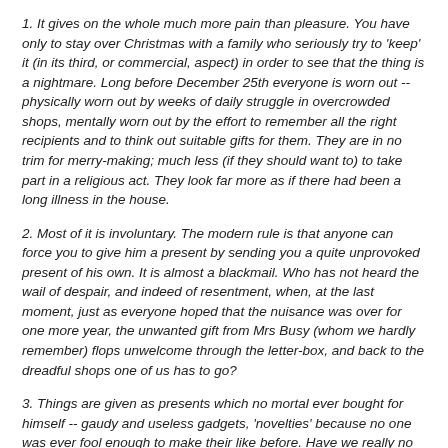1. It gives on the whole much more pain than pleasure. You have only to stay over Christmas with a family who seriously try to 'keep' it (in its third, or commercial, aspect) in order to see that the thing is a nightmare. Long before December 25th everyone is worn out -- physically worn out by weeks of daily struggle in overcrowded shops, mentally worn out by the effort to remember all the right recipients and to think out suitable gifts for them. They are in no trim for merry-making; much less (if they should want to) to take part in a religious act. They look far more as if there had been a long illness in the house.
2. Most of it is involuntary. The modern rule is that anyone can force you to give him a present by sending you a quite unprovoked present of his own. It is almost a blackmail. Who has not heard the wail of despair, and indeed of resentment, when, at the last moment, just as everyone hoped that the nuisance was over for one more year, the unwanted gift from Mrs Busy (whom we hardly remember) flops unwelcome through the letter-box, and back to the dreadful shops one of us has to go?
3. Things are given as presents which no mortal ever bought for himself -- gaudy and useless gadgets, 'novelties' because no one was ever fool enough to make their like before. Have we really no better use for materials and for human skill and time than to spend them on all this rubbish?
4. The minimum. For, after all, during the whole year still we all...